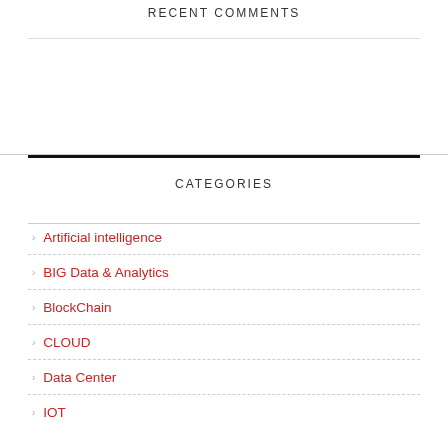RECENT COMMENTS
CATEGORIES
Artificial intelligence
BIG Data & Analytics
BlockChain
CLOUD
Data Center
IOT